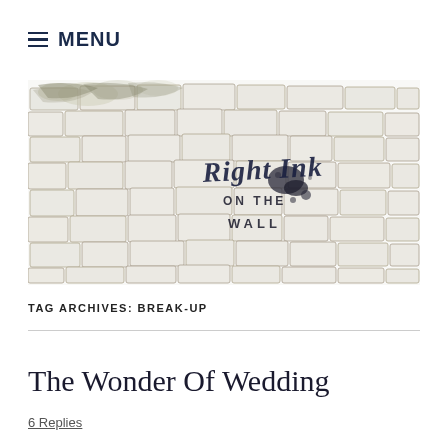≡ MENU
[Figure (illustration): Sketch-style illustration of a stone/brick wall with the text 'Right Ink ON THE WALL' written in decorative script and serif fonts across the center of the image. The bricks are drawn in pencil/charcoal style.]
TAG ARCHIVES: BREAK-UP
The Wonder Of Wedding
6 Replies